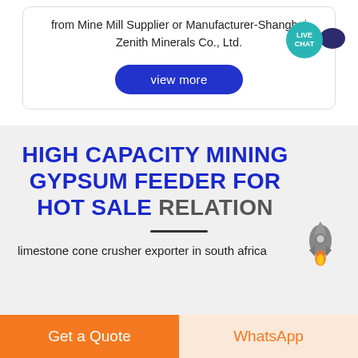from Mine Mill Supplier or Manufacturer-Shanghai Zenith Minerals Co., Ltd.
view more
HIGH CAPACITY MINING GYPSUM FEEDER FOR HOT SALE RELATION
limestone cone crusher exporter in south africa
Get a Quote
WhatsApp